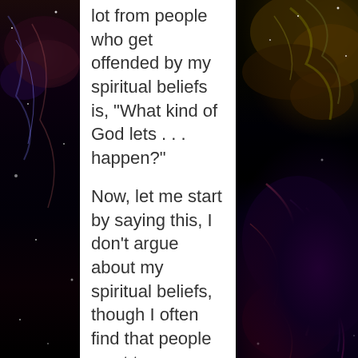[Figure (photo): Space nebula photograph split left and right sides of the image, with colorful cosmic clouds and stars on dark black background]
lot from people who get offended by my spiritual beliefs is, “What kind of God lets . . . happen?”

Now, let me start by saying this, I don’t argue about my spiritual beliefs, though I often find that people want to argue with me.  I don’t have a problem